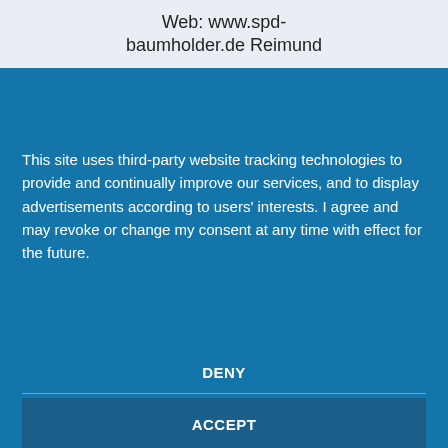Web: www.spd-baumholder.de Reimund
This site uses third-party website tracking technologies to provide and continually improve our services, and to display advertisements according to users' interests. I agree and may revoke or change my consent at any time with effect for the future.
DENY
ACCEPT
MORE
Powered by usercentrics & eRecht24